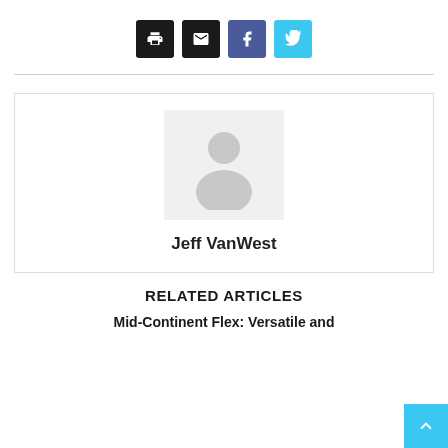[Figure (infographic): Row of four social share buttons: print (black), email (black), Facebook (blue-gray), Twitter (light blue)]
[Figure (photo): Author profile box with generic placeholder avatar image and author name Jeff VanWest below it]
Jeff VanWest
RELATED ARTICLES
Mid-Continent Flex: Versatile and